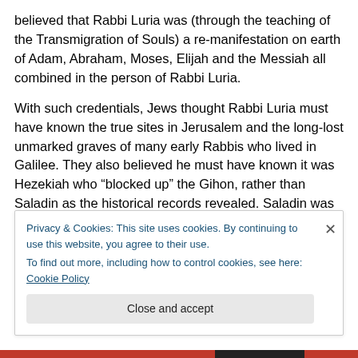believed that Rabbi Luria was (through the teaching of the Transmigration of Souls) a re-manifestation on earth of Adam, Abraham, Moses, Elijah and the Messiah all combined in the person of Rabbi Luria.
With such credentials, Jews thought Rabbi Luria must have known the true sites in Jerusalem and the long-lost unmarked graves of many early Rabbis who lived in Galilee. They also believed he must have known it was Hezekiah who “blocked up” the Gihon, rather than Saladin as the historical records revealed. Saladin was the right
Privacy & Cookies: This site uses cookies. By continuing to use this website, you agree to their use.
To find out more, including how to control cookies, see here: Cookie Policy
Close and accept